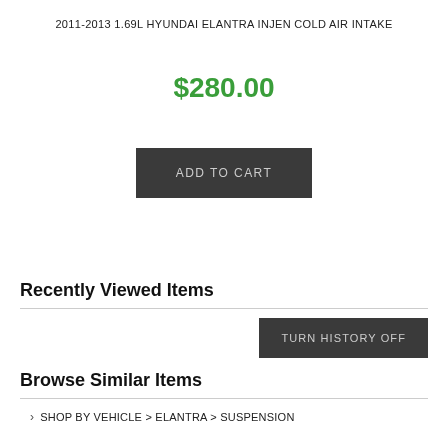2011-2013 1.69L HYUNDAI ELANTRA INJEN COLD AIR INTAKE
$280.00
ADD TO CART
Recently Viewed Items
TURN HISTORY OFF
Browse Similar Items
> SHOP BY VEHICLE > ELANTRA > SUSPENSION